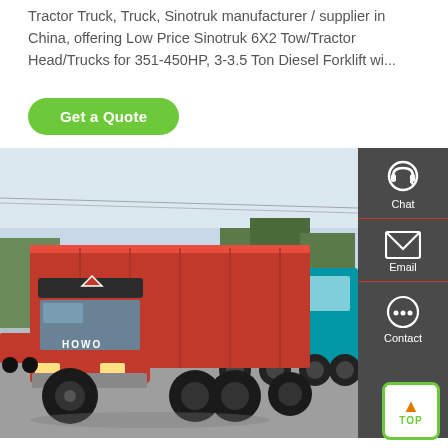Tractor Truck, Truck, Sinotruk manufacturer / supplier in China, offering Low Price Sinotruk 6X2 Tow/Tractor Head/Trucks for 351-450HP, 3-3.5 Ton Diesel Forklift wi...
Get a Quote
[Figure (photo): Red Sinotruk dump truck in foreground with a teal dump truck behind it, parked in a yard. Dark grey sidebar overlay on right with Chat, Email, Contact icons. Green TOP button in bottom right.]